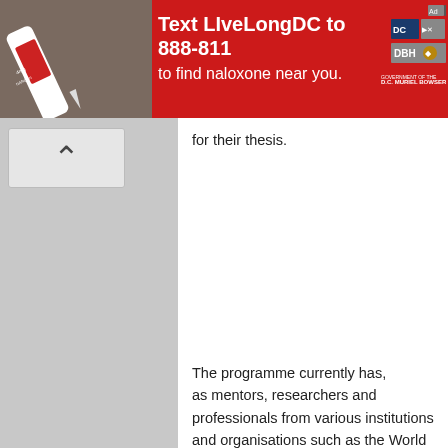[Figure (infographic): Red advertisement banner: Text LIveLongDC to 888-811 to find naloxone near you. Shows a naloxone auto-injector pen on the left, DC government and DBH logos on the right.]
for their thesis.
The programme currently has, as mentors, researchers and professionals from various institutions and organisations such as the World